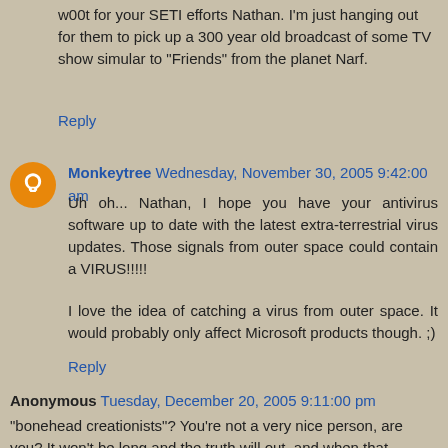w00t for your SETI efforts Nathan. I'm just hanging out for them to pick up a 300 year old broadcast of some TV show simular to "Friends" from the planet Narf.
Reply
Monkeytree  Wednesday, November 30, 2005 9:42:00 am
Uh oh... Nathan, I hope you have your antivirus software up to date with the latest extra-terrestrial virus updates. Those signals from outer space could contain a VIRUS!!!!!
I love the idea of catching a virus from outer space. It would probably only affect Microsoft products though. ;)
Reply
Anonymous  Tuesday, December 20, 2005 9:11:00 pm
"bonehead creationists"? You're not a very nice person, are you? It won't be long and the truth will out, and when that